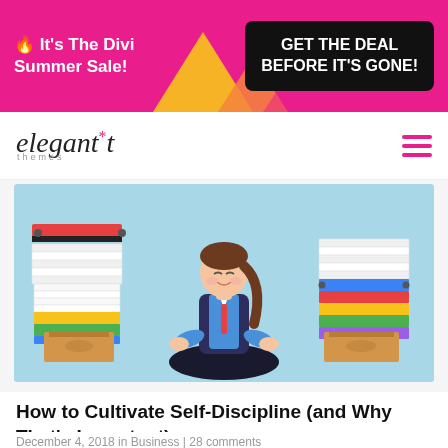🔥 It's The Divi Summer Sale! GET THE DEAL BEFORE IT'S GONE!
[Figure (logo): Elegant Themes logo with italic text and asterisk star in pink]
[Figure (illustration): Cartoon businesswoman sitting in lotus yoga pose surrounded by stacks of paper and colorful binders on a light blue background]
How to Cultivate Self-Discipline (and Why That's Important)
December 4, 2018 in Business | 28 comments